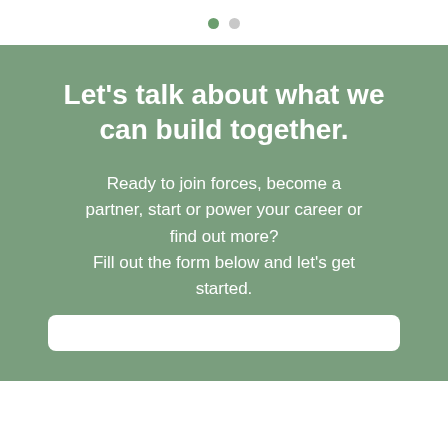[Figure (other): Two navigation dots: one filled green (active) and one light gray (inactive), indicating a two-slide carousel with the first slide active.]
Let's talk about what we can build together.
Ready to join forces, become a partner, start or power your career or find out more? Fill out the form below and let's get started.